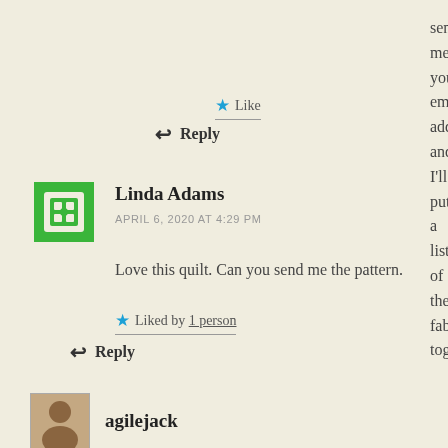send me your email address and I'll put a list of the fabrics together.
★ Like
↩ Reply
Linda Adams
APRIL 6, 2020 AT 4:29 PM
Love this quilt. Can you send me the pattern.
★ Liked by 1 person
↩ Reply
agilejack